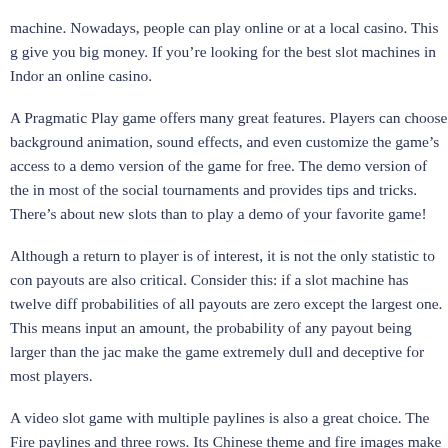machine. Nowadays, people can play online or at a local casino. This g give you big money. If you're looking for the best slot machines in Indon an online casino.
A Pragmatic Play game offers many great features. Players can choose background animation, sound effects, and even customize the game's access to a demo version of the game for free. The demo version of the in most of the social tournaments and provides tips and tricks. There's about new slots than to play a demo of your favorite game!
Although a return to player is of interest, it is not the only statistic to con payouts are also critical. Consider this: if a slot machine has twelve diff probabilities of all payouts are zero except the largest one. This means input an amount, the probability of any payout being larger than the jac make the game extremely dull and deceptive for most players.
A video slot game with multiple paylines is also a great choice. The Fire paylines and three rows. Its Chinese theme and fire images make for a game offers high graphic fidelity and betting limits, up to 70 coins per sp can be valued at 0.01 to 50 units of currency. If you're lucky, you'll win u